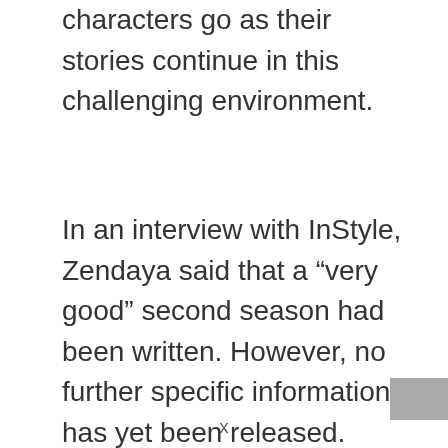characters go as their stories continue in this challenging environment.
In an interview with InStyle, Zendaya said that a “very good” second season had been written. However, no further specific information has yet been released. Levinson is known for revising his scripts during the filming process and isn’t ruling out more rewrites for
x